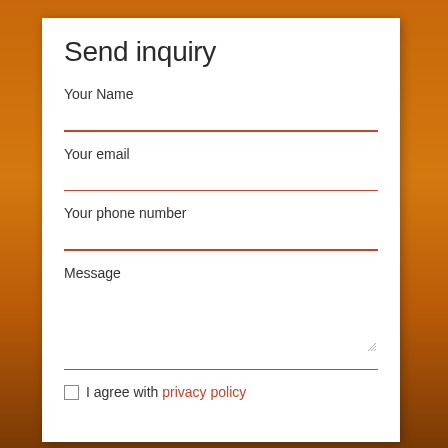Send inquiry
Your Name
Your email
Your phone number
Message
I agree with privacy policy